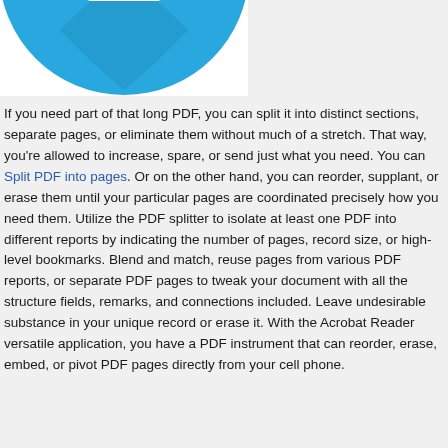[Figure (logo): Blue circular icon with a white document/rectangle symbol inside, partially cropped at the top]
If you need part of that long PDF, you can split it into distinct sections, separate pages, or eliminate them without much of a stretch. That way, you're allowed to increase, spare, or send just what you need. You can Split PDF into pages. Or on the other hand, you can reorder, supplant, or erase them until your particular pages are coordinated precisely how you need them. Utilize the PDF splitter to isolate at least one PDF into different reports by indicating the number of pages, record size, or high-level bookmarks. Blend and match, reuse pages from various PDF reports, or separate PDF pages to tweak your document with all the structure fields, remarks, and connections included. Leave undesirable substance in your unique record or erase it. With the Acrobat Reader versatile application, you have a PDF instrument that can reorder, erase, embed, or pivot PDF pages directly from your cell phone.